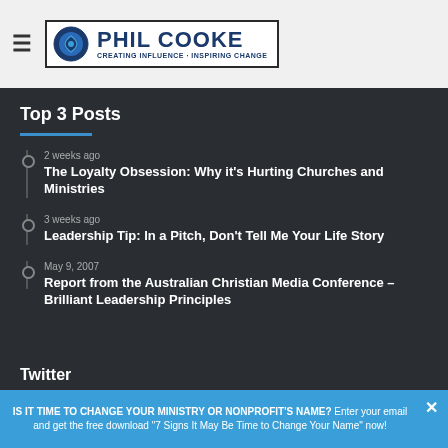Phil Cooke - Creating Influence - Inspiring Change
Top 3 Posts
2 weeks ago
The Loyalty Obsession: Why it's Hurting Churches and Ministries
3 weeks ago
Leadership Tip: In a Pitch, Don't Tell Me Your Life Story
May 9, 2007
Report from the Australian Christian Media Conference – Brilliant Leadership Principles
Twitter
IS IT TIME TO CHANGE YOUR MINISTRY OR NONPROFIT'S NAME? Enter your email and get the free download "7 Signs It May Be Time to Change Your Name" now!